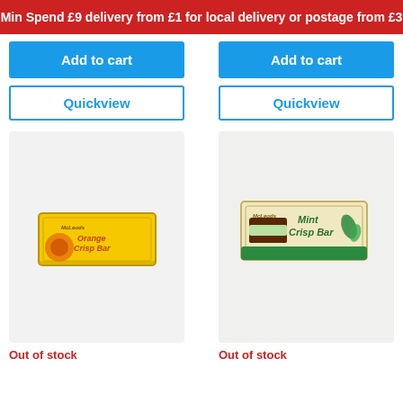Min Spend £9 delivery from £1 for local delivery or postage from £3
Add to cart
Add to cart
Quickview
Quickview
[Figure (photo): Orange Crisp Bar chocolate product box, yellow packaging]
[Figure (photo): Mint Crisp Bar chocolate product box, green and cream packaging]
Out of stock
Out of stock